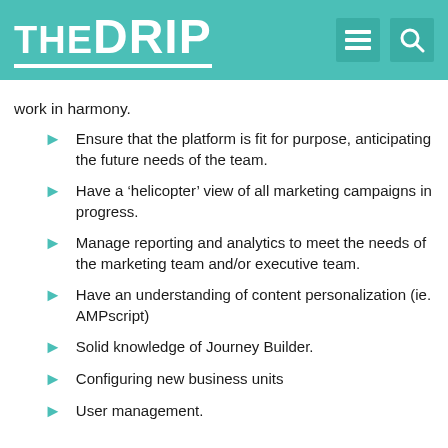THE DRIP
work in harmony.
Ensure that the platform is fit for purpose, anticipating the future needs of the team.
Have a 'helicopter' view of all marketing campaigns in progress.
Manage reporting and analytics to meet the needs of the marketing team and/or executive team.
Have an understanding of content personalization (ie. AMPscript)
Solid knowledge of Journey Builder.
Configuring new business units
User management.